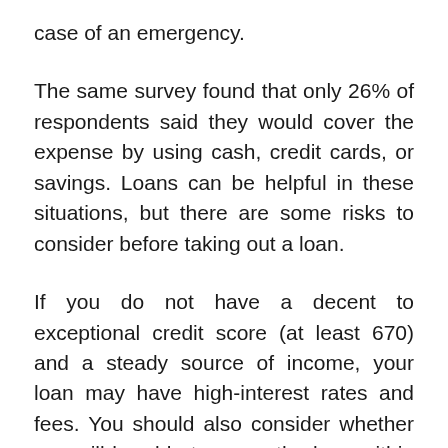case of an emergency.
The same survey found that only 26% of respondents said they would cover the expense by using cash, credit cards, or savings. Loans can be helpful in these situations, but there are some risks to consider before taking out a loan.
If you do not have a decent to exceptional credit score (at least 670) and a steady source of income, your loan may have high-interest rates and fees. You should also consider whether you will be able to repay the loan within the specified time frame.